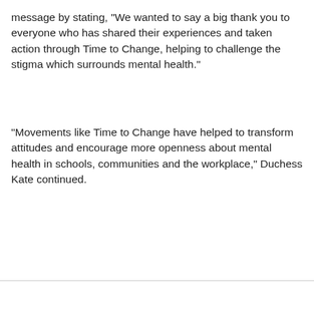message by stating, "We wanted to say a big thank you to everyone who has shared their experiences and taken action through Time to Change, helping to challenge the stigma which surrounds mental health."
"Movements like Time to Change have helped to transform attitudes and encourage more openness about mental health in schools, communities and the workplace," Duchess Kate continued.